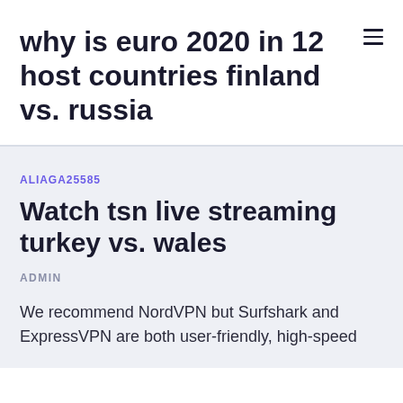why is euro 2020 in 12 host countries finland vs. russia
ALIAGA25585
Watch tsn live streaming turkey vs. wales
ADMIN
We recommend NordVPN but Surfshark and ExpressVPN are both user-friendly, high-speed